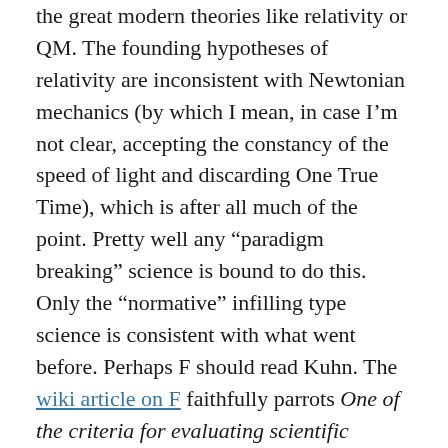the great modern theories like relativity or QM. The founding hypotheses of relativity are inconsistent with Newtonian mechanics (by which I mean, in case I'm not clear, accepting the constancy of the speed of light and discarding One True Time), which is after all much of the point. Pretty well any “paradigm breaking” science is bound to do this. Only the “normative” infilling type science is consistent with what went before. Perhaps F should read Kuhn. The wiki article on F faithfully parrots One of the criteria for evaluating scientific theories that Feyerabend attacks is the consistency criterion but again makes no attempt to establish that this criterion exists.
Then we got